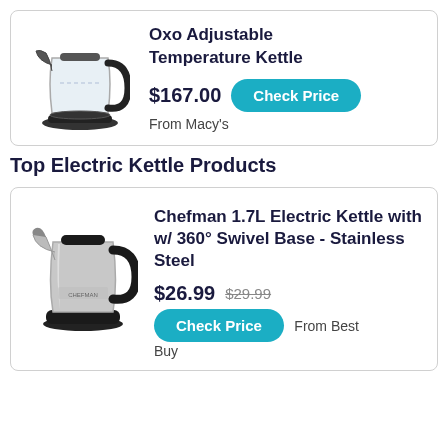[Figure (photo): Oxo Adjustable Temperature Kettle product image - glass and stainless steel electric kettle]
Oxo Adjustable Temperature Kettle
$167.00   Check Price   From Macy's
Top Electric Kettle Products
[Figure (photo): Chefman 1.7L Electric Kettle - stainless steel body with black handle and base]
Chefman 1.7L Electric Kettle with w/ 360° Swivel Base - Stainless Steel
$26.99  $29.99  Check Price  From Best Buy